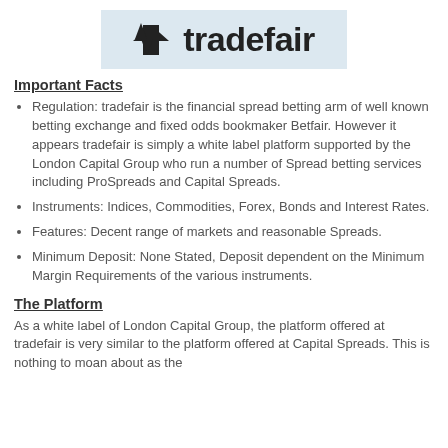[Figure (logo): Tradefair logo with up/down arrows and text 'tradefair' on a light blue background]
Important Facts
Regulation: tradefair is the financial spread betting arm of well known betting exchange and fixed odds bookmaker Betfair. However it appears tradefair is simply a white label platform supported by the London Capital Group who run a number of Spread betting services including ProSpreads and Capital Spreads.
Instruments: Indices, Commodities, Forex, Bonds and Interest Rates.
Features: Decent range of markets and reasonable Spreads.
Minimum Deposit: None Stated, Deposit dependent on the Minimum Margin Requirements of the various instruments.
The Platform
As a white label of London Capital Group, the platform offered at tradefair is very similar to the platform offered at Capital Spreads. This is nothing to moan about as the